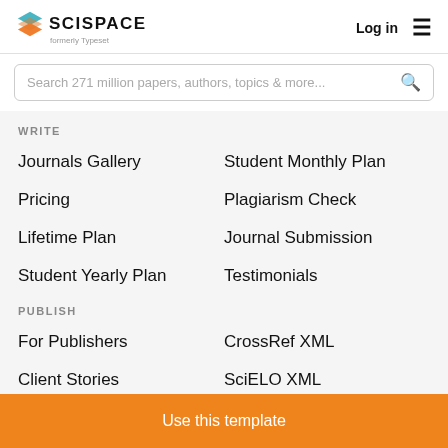[Figure (logo): SciSpace logo with stacked layers icon and text 'SCISPACE formerly Typeset']
Log in
≡
Search 271 million papers, authors, topics & more...
WRITE
Journals Gallery
Student Monthly Plan
Pricing
Plagiarism Check
Lifetime Plan
Journal Submission
Student Yearly Plan
Testimonials
PUBLISH
For Publishers
CrossRef XML
Client Stories
SciELO XML
Use this template